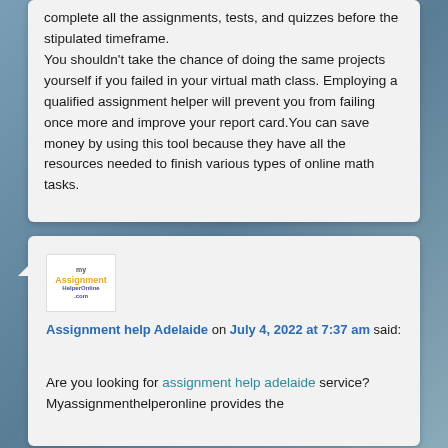complete all the assignments, tests, and quizzes before the stipulated timeframe. You shouldn't take the chance of doing the same projects yourself if you failed in your virtual math class. Employing a qualified assignment helper will prevent you from failing once more and improve your report card.You can save money by using this tool because they have all the resources needed to finish various types of online math tasks.
[Figure (logo): myAssignment HelperOnline logo — orange and blue/purple text on white background]
Assignment help Adelaide on July 4, 2022 at 7:37 am said:
Are you looking for assignment help adelaide service? Myassignmenthelperonline provides the